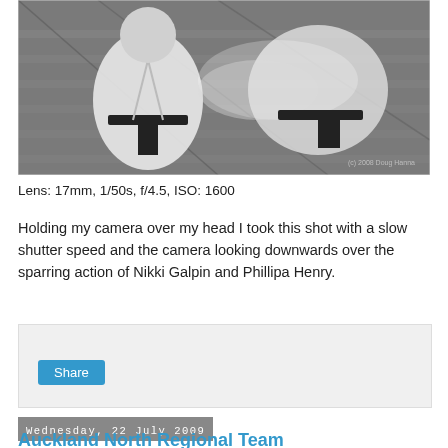[Figure (photo): Black and white overhead photo of two martial artists in white gis with black belts sparring on a wooden floor, motion blur on one figure. Watermark: (c) 2008 Doug Hanna]
Lens: 17mm, 1/50s, f/4.5, ISO: 1600
Holding my camera over my head I took this shot with a slow shutter speed and the camera looking downwards over the sparring action of Nikki Galpin and Phillipa Henry.
[Figure (screenshot): Social sharing widget box with a Share button]
Wednesday, 22 July 2009
Auckland North Regional Team